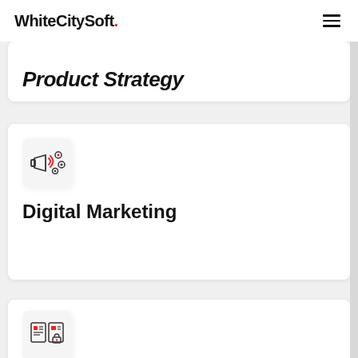WhiteCitySoft.
Product Strategy
[Figure (illustration): Icon of a megaphone with social/notification bubbles (circles with dots), representing Digital Marketing]
Digital Marketing
[Figure (illustration): Icon showing document/form pages with red accent elements and a padlock, representing a security or content management service]